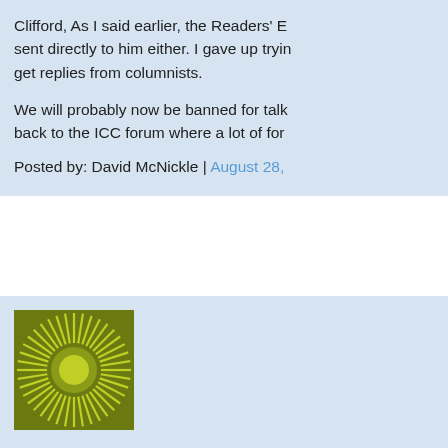Clifford, As I said earlier, the Readers' E sent directly to him either. I gave up trying get replies from columnists.

We will probably now be banned for talk back to the ICC forum where a lot of for

Posted by: David McNickle | August 28,
[Figure (illustration): A stylized sunburst avatar icon — olive/yellow-green rays radiating from a central circle on a darker olive background, square format.]
Surpassing Orwell's imaginings, Jane Ai reader in her forthcoming trilogy. But wh Are there more than one ??

Posted by: Jane Air | September 15, 200
[Figure (illustration): A stylized sunburst avatar icon — olive/yellow-green rays radiating from a central circle on a darker olive background, square format.]
'readers' - I will hopefully have more tha

Posted by: Jane Air | September 15, 200